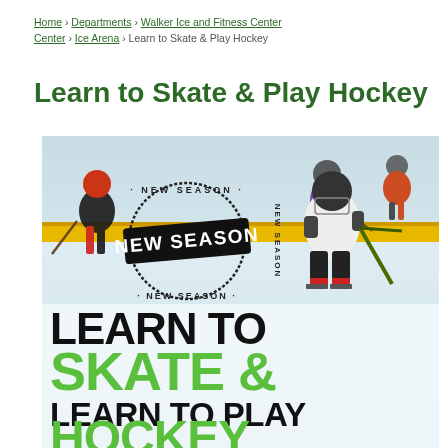Home › Departments › Walker Ice and Fitness Center › Ice Arena › Learn to Skate & Play Hockey
Learn to Skate & Play Hockey
[Figure (photo): Children playing ice hockey on a rink with an overlaid promotional graphic reading 'NEW SEASON' in a stamp design, and large bold text reading 'LEARN TO SKATE & LEARN TO PLAY HOCKEY' with green and black lettering]